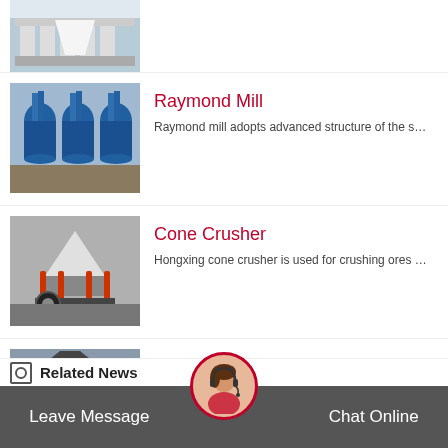[Figure (photo): Industrial machine (partial, top-cropped) in factory setting]
[Figure (photo): Raymond mill machines (blue cylindrical equipment) in factory]
Raymond Mill
Raymond mill adopts advanced structure of the s…
[Figure (photo): Cone crusher machine with orange/red components in factory]
Cone Crusher
Hongxing cone crusher is used for crushing ores …
[Figure (photo): Briquetting plant machine (dark gray) in factory setting]
Briquetting Plant
Briquetting plant is usually composed of feeder, …
Leave Message   Chat Online
Related News